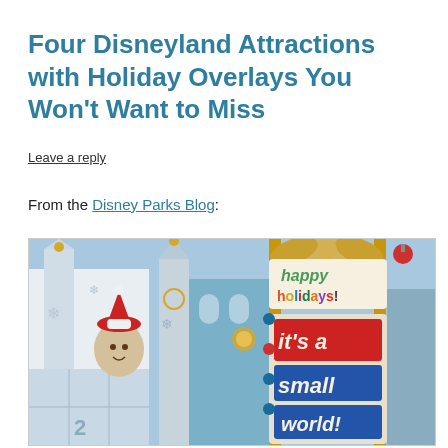Four Disneyland Attractions with Holiday Overlays You Won't Want to Miss
Leave a reply
From the Disney Parks Blog:
[Figure (photo): Photo of the 'it's a small world' Holiday attraction facade at Disneyland, decorated with festive ornaments, snowflakes, and gold accents. A sign on the right reads 'happy holidays! it's a small world!' in colorful letters. A character with a Santa hat is visible on the left side of the facade.]